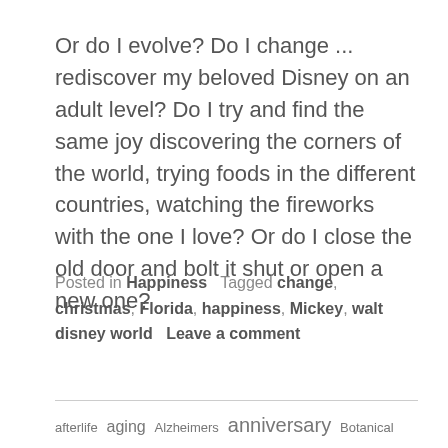Or do I evolve? Do I change ... rediscover my beloved Disney on an adult level? Do I try and find the same joy discovering the corners of the world, trying foods in the different countries, watching the fireworks with the one I love? Or do I close the old door and bolt it shut or open a new one?
Posted in Happiness   Tagged change, christmas, Florida, happiness, Mickey, walt disney world   Leave a comment
afterlife aging Alzheimers anniversary Botanical Gardens bucket list change changes Childhood children christmas christmas stocking cold computer crafts Death